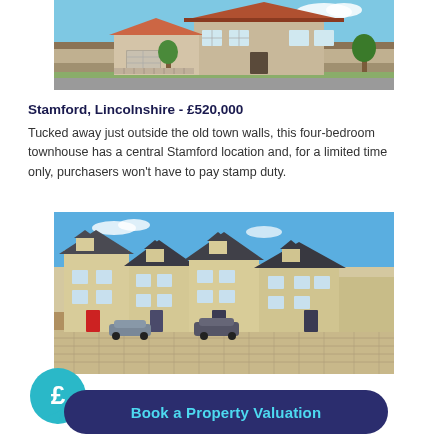[Figure (photo): Exterior rendering of a two-storey brick and flint detached house with red-tiled roof and double garage, surrounded by greenery.]
Stamford, Lincolnshire - £520,000
Tucked away just outside the old town walls, this four-bedroom townhouse has a central Stamford location and, for a limited time only, purchasers won't have to pay stamp duty.
[Figure (photo): Photograph of a row of stone-built townhouses with slate roofs, red and dark front doors, and a cobbled shared driveway with parked cars under a blue sky.]
Book a Property Valuation